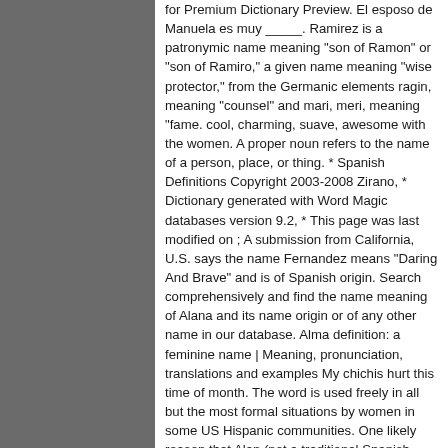for Premium Dictionary Preview. El esposo de Manuela es muy _____. Ramirez is a patronymic name meaning "son of Ramon" or "son of Ramiro," a given name meaning "wise protector," from the Germanic elements ragin, meaning "counsel" and mari, meri, meaning "fame. cool, charming, suave, awesome with the women. A proper noun refers to the name of a person, place, or thing. * Spanish Definitions Copyright 2003-2008 Zirano, * Dictionary generated with Word Magic databases version 9.2, * This page was last modified on ; A submission from California, U.S. says the name Fernandez means "Daring And Brave" and is of Spanish origin. Search comprehensively and find the name meaning of Alana and its name origin or of any other name in our database. Alma definition: a feminine name | Meaning, pronunciation, translations and examples My chichis hurt this time of month. The word is used freely in all but the most formal situations by women in some US Hispanic communities. One likely reason that Alan (not a traditional Spanish name) is still popular in the "Spanish Southwest" while not in the rest of the country, is because also relations with limited English vocabils